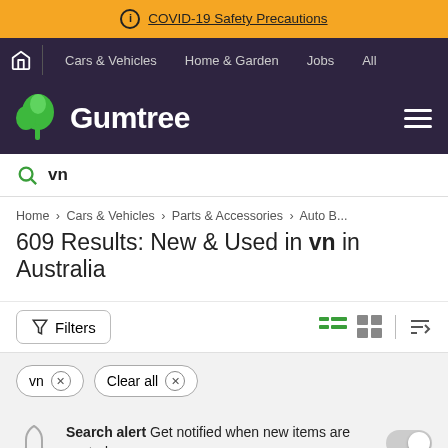COVID-19 Safety Precautions
Cars & Vehicles  Home & Garden  Jobs  All
Gumtree
vn
Home > Cars & Vehicles > Parts & Accessories > Auto B...
609 Results: New & Used in vn in Australia
Filters
vn ×
Clear all ×
Search alert  Get notified when new items are posted